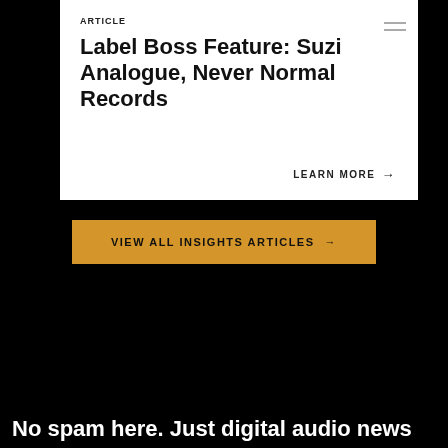ARTICLE
Label Boss Feature: Suzi Analogue, Never Normal Records
LEARN MORE →
VIEW ALL INSIGHTS ARTICLES →
No spam here. Just digital audio news